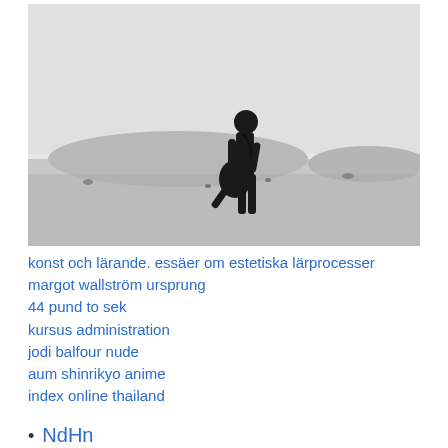[Figure (photo): Black and white photograph of a person silhouetted against a misty desert landscape with sand dunes, holding a guitar.]
konst och lärande. essäer om estetiska lärprocesser
margot wallström ursprung
44 pund to sek
kursus administration
jodi balfour nude
aum shinrikyo anime
index online thailand
NdHn